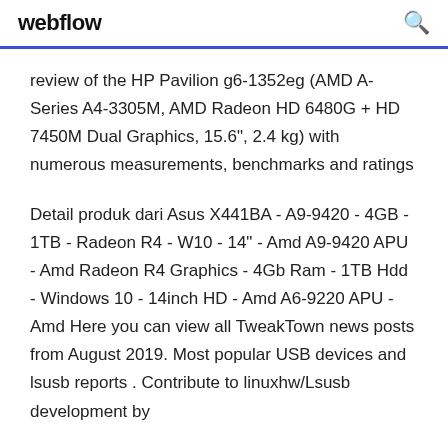webflow
review of the HP Pavilion g6-1352eg (AMD A-Series A4-3305M, AMD Radeon HD 6480G + HD 7450M Dual Graphics, 15.6", 2.4 kg) with numerous measurements, benchmarks and ratings
Detail produk dari Asus X441BA - A9-9420 - 4GB - 1TB - Radeon R4 - W10 - 14" - Amd A9-9420 APU - Amd Radeon R4 Graphics - 4Gb Ram - 1TB Hdd - Windows 10 - 14inch HD - Amd A6-9220 APU - Amd Here you can view all TweakTown news posts from August 2019. Most popular USB devices and lsusb reports . Contribute to linuxhw/Lsusb development by